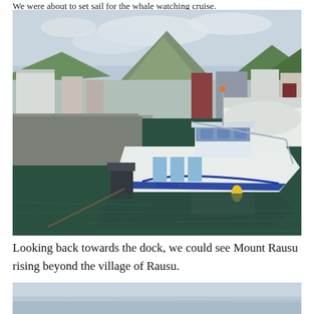We were about to set sail for the whale watching cruise.
[Figure (photo): A white and blue Yamaha motorboat docked at a harbor in Rausu, Japan. The boat has passenger seating and a small cabin. Behind it are fishing vessels, dock buildings, and Mount Rausu rising above the village with green forested hillsides under a partly cloudy sky. The boat is reflected in the calm dark green harbor water.]
Looking back towards the dock, we could see Mount Rausu rising beyond the village of Rausu.
[Figure (photo): Partial view of a seascape or ocean scene with a pale sky, shown as a cropped bottom strip of the page.]